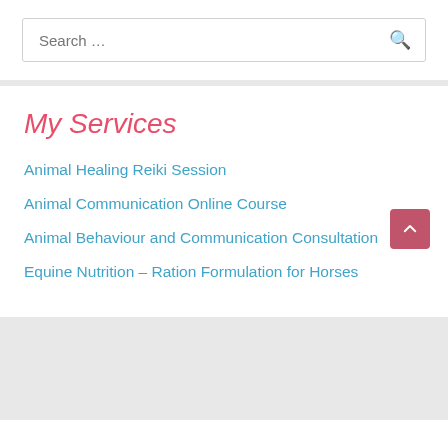Search ...
My Services
Animal Healing Reiki Session
Animal Communication Online Course
Animal Behaviour and Communication Consultation
Equine Nutrition – Ration Formulation for Horses